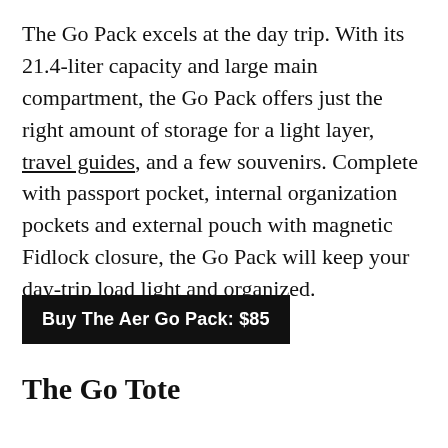The Go Pack excels at the day trip. With its 21.4-liter capacity and large main compartment, the Go Pack offers just the right amount of storage for a light layer, travel guides, and a few souvenirs. Complete with passport pocket, internal organization pockets and external pouch with magnetic Fidlock closure, the Go Pack will keep your day-trip load light and organized.
Buy The Aer Go Pack: $85
The Go Tote